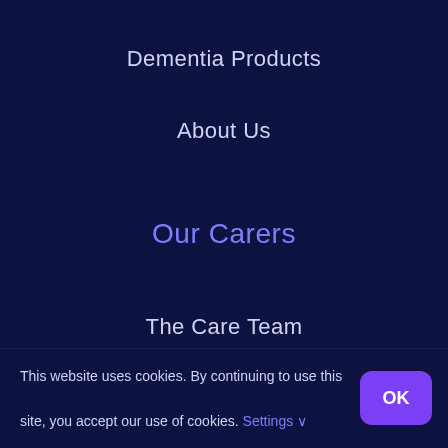Dementia Products
About Us
Our Carers
The Care Team
Jobs
Training
This website uses cookies. By continuing to use this site, you accept our use of cookies. Settings ∨